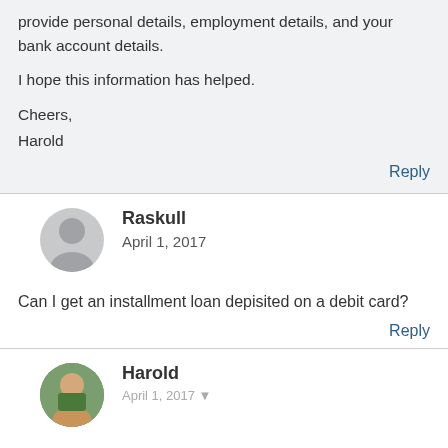provide personal details, employment details, and your bank account details.
I hope this information has helped.
Cheers,
Harold
Reply
Raskull
April 1, 2017
Can I get an installment loan depisited on a debit card?
Reply
Harold